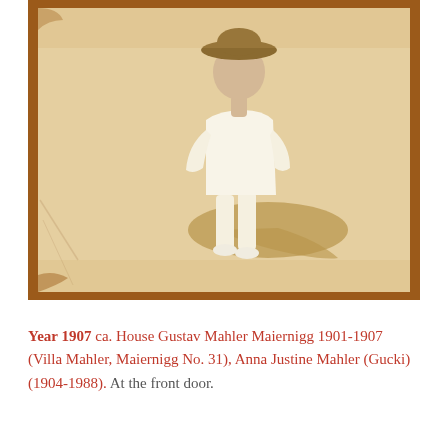[Figure (photo): Antique sepia-toned photograph with a rust/brown border showing a child in white clothing and hat standing on a sandy or light-colored ground, casting a shadow. The photograph appears aged with some wear at the corners.]
Year 1907 ca. House Gustav Mahler Maiernigg 1901-1907 (Villa Mahler, Maiernigg No. 31), Anna Justine Mahler (Gucki) (1904-1988). At the front door.